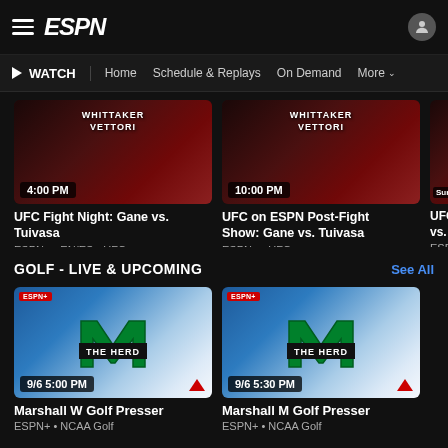ESPN
WATCH | Home | Schedule & Replays | On Demand | More
[Figure (screenshot): UFC Fight Night: Gane vs. Tuivasa thumbnail showing WHITTAKER vs VETTORI text overlay, 4:00 PM badge]
UFC Fight Night: Gane vs. Tuivasa
ESPN+ • EN/ES • UFC
[Figure (screenshot): UFC on ESPN Post-Fight Show: Gane vs. Tuivasa thumbnail showing WHITTAKER vs VETTORI, 10:00 PM badge]
UFC on ESPN Post-Fight Show: Gane vs. Tuivasa
ESPN+ • UFC
GOLF - LIVE & UPCOMING
See All
[Figure (screenshot): Marshall University The Herd logo on blue/white background, ESPN+ badge, 9/6 5:00 PM badge]
Marshall W Golf Presser
ESPN+ • NCAA Golf
[Figure (screenshot): Marshall University The Herd logo on blue/white background, ESPN+ badge, 9/6 5:30 PM badge]
Marshall M Golf Presser
ESPN+ • NCAA Golf